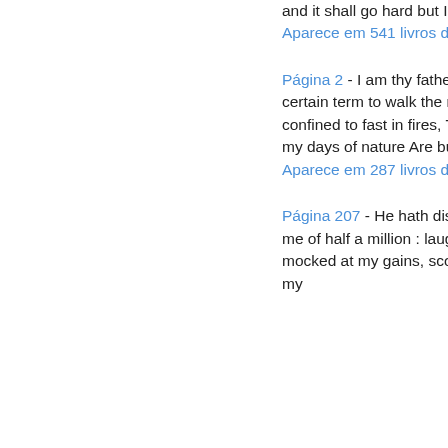and it shall go hard but I will better the instruction.
Aparece em 541 livros desde 1785-2008
Página 2 - I am thy father's spirit ; Doom'd for a certain term to walk the night ; And for the day confined to fast in fires, Till the foul crimes done in my days of nature Are burnt and purged away.
Aparece em 287 livros desde 1813-2008
Página 207 - He hath disgraced me, and hindered me of half a million : laughed at my losses, mocked at my gains, scorned my nation, thwarted my